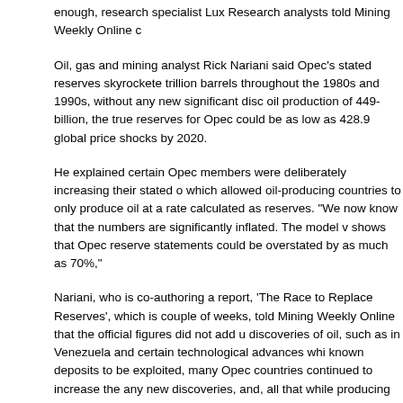enough, research specialist Lux Research analysts told Mining Weekly Online c
Oil, gas and mining analyst Rick Nariani said Opec's stated reserves skyrockete trillion barrels throughout the 1980s and 1990s, without any new significant disc oil production of 449-billion, the true reserves for Opec could be as low as 428.9 global price shocks by 2020.
He explained certain Opec members were deliberately increasing their stated o which allowed oil-producing countries to only produce oil at a rate calculated as reserves. "We now know that the numbers are significantly inflated. The model v shows that Opec reserve statements could be overstated by as much as 70%,"
Nariani, who is co-authoring a report, 'The Race to Replace Reserves', which is couple of weeks, told Mining Weekly Online that the official figures did not add u discoveries of oil, such as in Venezuela and certain technological advances whi known deposits to be exploited, many Opec countries continued to increase the any new discoveries, and, all that while producing significant amounts of oil.
http://www.miningweekly.com/article/opec-believed-to-overstate-oil-reserves-by- 10-04
2011
8/2/2011
Wikileaks Cables: Saudi Arabia cannot pump enough oi